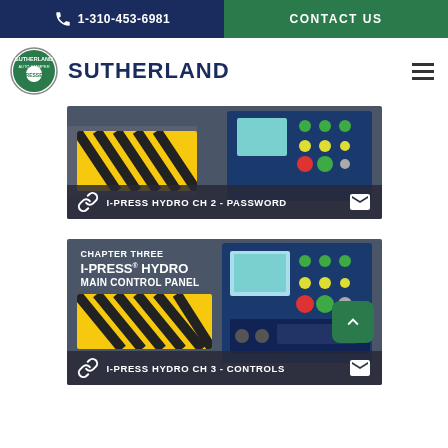1-310-453-6981 | CONTACT US
[Figure (logo): Sutherland Auto Stamper Presses circular logo with text SUTHERLAND]
[Figure (photo): Industrial hydraulic press control panel with yellow/black warning stripes and blue control panel with buttons, overlaid with link icon, text I-PRESS HYDRO CH 2 - PASSWORD, and envelope icon]
[Figure (photo): Industrial hydraulic press control panel with text overlay: CHAPTER THREE, I-PRESS® HYDRO, MAIN CONTROL PANEL, overlaid with link icon, text I-PRESS HYDRO CH 3 - CONTROLS, and envelope icon]